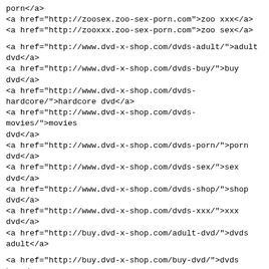porn</a>
<a href="http://zoosex.zoo-sex-porn.com">zoo xxx</a>
<a href="http://zooxxx.zoo-sex-porn.com">zoo sex</a>
<a href="http://www.dvd-x-shop.com/dvds-adult/">adult dvd</a>
<a href="http://www.dvd-x-shop.com/dvds-buy/">buy dvd</a>
<a href="http://www.dvd-x-shop.com/dvds-hardcore/">hardcore dvd</a>
<a href="http://www.dvd-x-shop.com/dvds-movies/">movies dvd</a>
<a href="http://www.dvd-x-shop.com/dvds-porn/">porn dvd</a>
<a href="http://www.dvd-x-shop.com/dvds-sex/">sex dvd</a>
<a href="http://www.dvd-x-shop.com/dvds-shop/">shop dvd</a>
<a href="http://www.dvd-x-shop.com/dvds-xxx/">xxx dvd</a>
<a href="http://buy.dvd-x-shop.com/adult-dvd/">dvds adult</a>
<a href="http://buy.dvd-x-shop.com/buy-dvd/">dvds buy</a>
<a href="http://buy.dvd-x-shop.com/hardcore-dvd/">dvds hardcore</a>
<a href="http://buy.dvd-x-shop.com/movies-dvd/">dvds movies</a>
<a href="http://buy.dvd-x-shop.com/porn-dvd/">dvds porn</a>